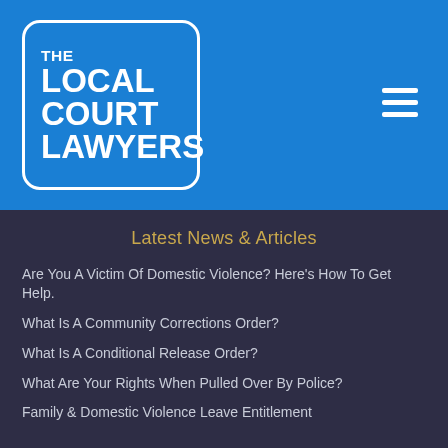[Figure (logo): The Local Court Lawyers logo — white rounded-rectangle border on blue background with white text reading THE LOCAL COURT LAWYERS]
Latest News & Articles
Are You A Victim Of Domestic Violence? Here's How To Get Help.
What Is A Community Corrections Order?
What Is A Conditional Release Order?
What Are Your Rights When Pulled Over By Police?
Family & Domestic Violence Leave Entitlement